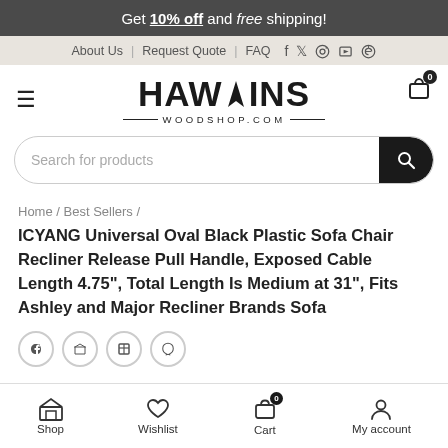Get 10% off and free shipping!
About Us | Request Quote | FAQ
[Figure (logo): Hawkins Woodshop.com logo with hamburger menu and cart icon showing 0 items]
Search for products
Home / Best Sellers /
ICYANG Universal Oval Black Plastic Sofa Chair Recliner Release Pull Handle, Exposed Cable Length 4.75", Total Length Is Medium at 31", Fits Ashley and Major Recliner Brands Sofa
Shop | Wishlist | Cart | My account